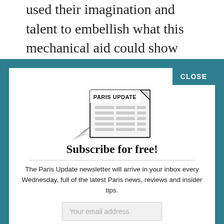used their imagination and talent to embellish what this mechanical aid could show them by playing with compositions and introducing dazzling lighting effects. When you see the dazzling lighting...
CLOSE
[Figure (illustration): Sketch illustration of a newspaper folded with 'PARIS UPDATE' as the headline, with text lines below it and a decorative curled corner.]
Subscribe for free!
The Paris Update newsletter will arrive in your inbox every Wednesday, full of the latest Paris news, reviews and insider tips.
Your email address
SIGN UP